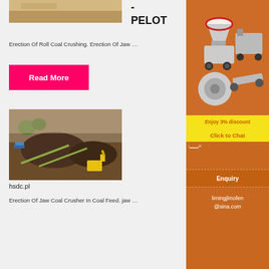[Figure (photo): Aerial/ground view of dry earthen terrain, partial image at top]
-
PELOT
Erection Of Roll Coal Crushing. Erection Of Jaw …
Read More
[Figure (photo): Mining site with heavy machinery, conveyor belts, excavators, and large mounds of earth/coal]
[Figure (photo): Industrial crushing/mining machinery advertisement with orange background showing crusher equipment]
Enjoy 3% discount
Click to Chat
Enquiry
limingjlmofen
@sina.com
hsdc.pl
Erection Of Jaw Coal Crusher In Coal Feed. jaw …